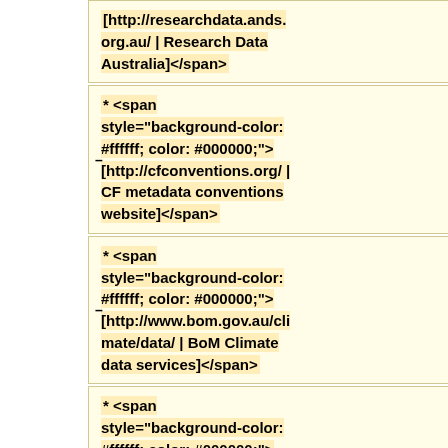[http://researchdata.ands.org.au/ | Research Data Australia]</span>
* <span style="background-color: #ffffff; color: #000000;">[http://cfconventions.org/ | CF metadata conventions website]</span>
* <span style="background-color: #ffffff; color: #000000;">[http://www.bom.gov.au/climate/data/ | BoM Climate data services]</span>
* <span style="background-color: #ffffff; color: #000000;">[https://terranova.org.au/ | Terra Nova] - The